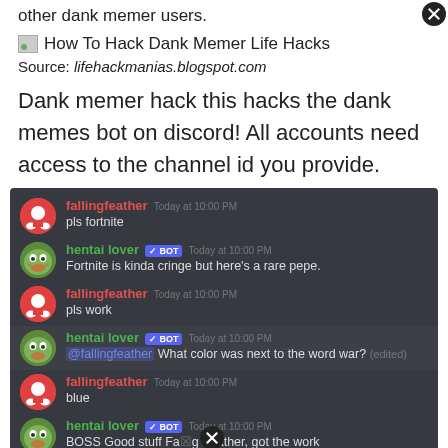other dank memer users.
[Figure (screenshot): Broken image icon followed by text: How To Hack Dank Memer Life Hacks]
Source: lifehackmanias.blogspot.com
Dank memer hack this hacks the dank memes bot on discord! All accounts need access to the channel id you provide.
[Figure (screenshot): Discord chat screenshot showing conversation between fallingfeather and hentai lover bot about dank memer commands]